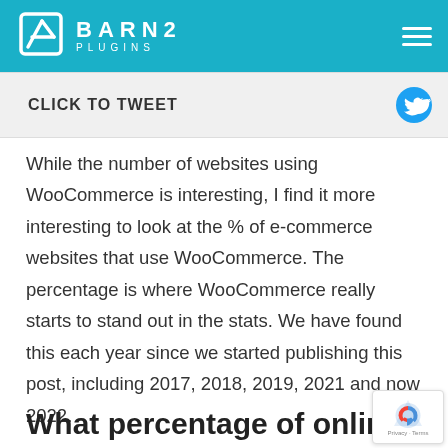BARN2 PLUGINS
CLICK TO TWEET
While the number of websites using WooCommerce is interesting, I find it more interesting to look at the % of e-commerce websites that use WooCommerce. The percentage is where WooCommerce really starts to stand out in the stats. We have found this each year since we started publishing this post, including 2017, 2018, 2019, 2021 and now 2022.
What percentage of online